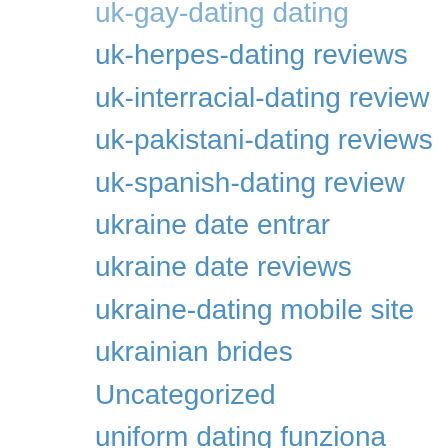uk-gay-dating dating
uk-herpes-dating reviews
uk-interracial-dating review
uk-pakistani-dating reviews
uk-spanish-dating review
ukraine date entrar
ukraine date reviews
ukraine-dating mobile site
ukrainian brides
Uncategorized
uniform dating funziona
uniform dating seiten
uniform dating sign in
upforit entrar
upforit italia
upforit recensione